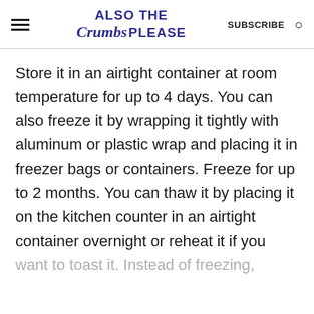Also The Crumbs Please — SUBSCRIBE
Store it in an airtight container at room temperature for up to 4 days. You can also freeze it by wrapping it tightly with aluminum or plastic wrap and placing it in freezer bags or containers. Freeze for up to 2 months. You can thaw it by placing it on the kitchen counter in an airtight container overnight or reheat it if you want to toast it. Instead of freezing,